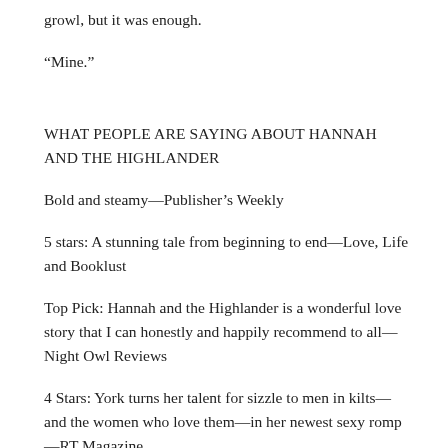growl, but it was enough.
“Mine.”
WHAT PEOPLE ARE SAYING ABOUT HANNAH AND THE HIGHLANDER
Bold and steamy—Publisher’s Weekly
5 stars: A stunning tale from beginning to end—Love, Life and Booklust
Top Pick: Hannah and the Highlander is a wonderful love story that I can honestly and happily recommend to all—Night Owl Reviews
4 Stars: York turns her talent for sizzle to men in kilts—and the women who love them—in her newest sexy romp—RT Magazine